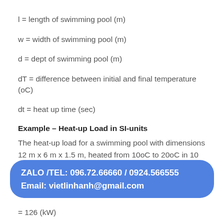l = length of swimming pool (m)
w = width of swimming pool (m)
d = dept of swimming pool (m)
dT = difference between initial and final temperature (oC)
dt = heat up time (sec)
Example – Heat-up Load in SI-units
The heat-up load for a swimming pool with dimensions 12 m x 6 m x 1.5 m, heated from 10oC to 20oC in 10 hours, can be calculated as
[Figure (other): Blue rounded rectangle overlay banner with contact info: ZALO /TEL: 096.72.66660 / 0924.566555 Email: vietlinhanh@gmail.com]
= 126 (kW)